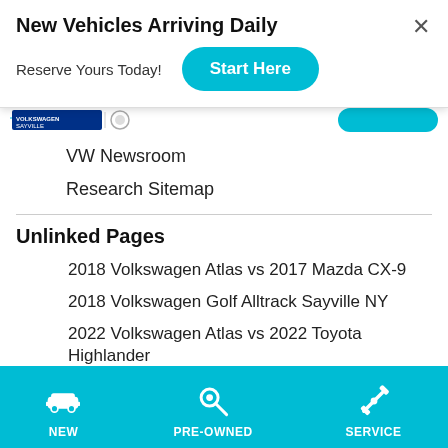New Vehicles Arriving Daily
Reserve Yours Today!
[Figure (screenshot): Partial navigation bar with Volkswagen Sayville logo and a blue button]
VW Newsroom
Research Sitemap
Unlinked Pages
2018 Volkswagen Atlas vs 2017 Mazda CX-9
2018 Volkswagen Golf Alltrack Sayville NY
2022 Volkswagen Atlas vs 2022 Toyota Highlander
The 2022 Volkswagen Jetta
Maintenence Menu
2021 Arteon
EZ Deal
Used Subaru Vehicles Sayville NY
NEW   PRE-OWNED   SERVICE